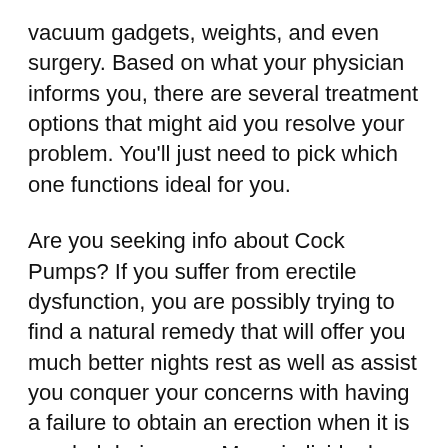vacuum gadgets, weights, and even surgery. Based on what your physician informs you, there are several treatment options that might aid you resolve your problem. You'll just need to pick which one functions ideal for you.
Are you seeking info about Cock Pumps? If you suffer from erectile dysfunction, you are possibly trying to find a natural remedy that will offer you much better nights rest as well as assist you conquer your concerns with having a failure to obtain an erection when it is needed during sex. Many individuals use herbal supplements to deal with impotence or various other clinical problems. Some of these supplements, like Dick Pumps, have obtained great evaluations, so maybe you